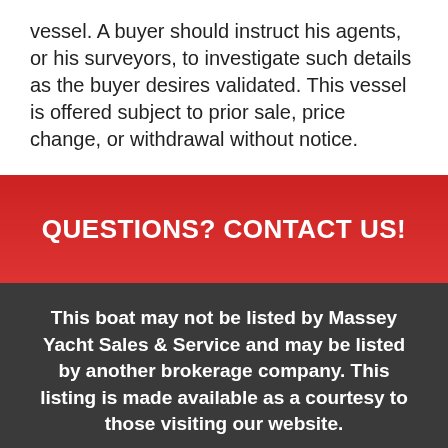vessel. A buyer should instruct his agents, or his surveyors, to investigate such details as the buyer desires validated. This vessel is offered subject to prior sale, price change, or withdrawal without notice.
QUESTIONS? CONTACT US!
This boat may not be listed by Massey Yacht Sales & Service and may be listed by another brokerage company. This listing is made available as a courtesy to those visiting our website.
The advertising broker is merely providing this information in an effort to represent you as a buyer in